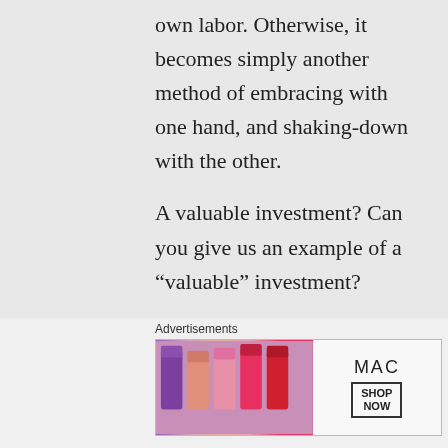own labor. Otherwise, it becomes simply another method of embracing with one hand, and shaking-down with the other.
A valuable investment? Can you give us an example of a “valuable” investment?
“In fact I would go as far to say that if people could have savings whose value is not tied to economic stability and
Advertisements
[Figure (photo): MAC cosmetics advertisement banner showing lipsticks in purple, pink, peach, and red colors with MAC logo and SHOP NOW button]